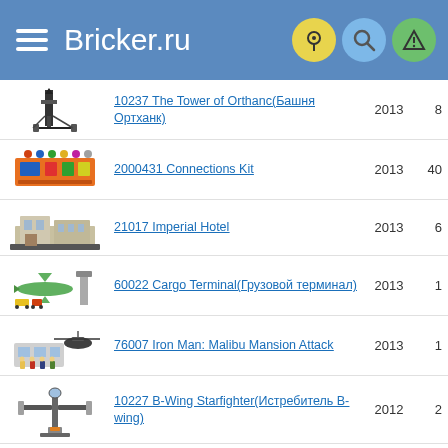Bricker.ru
10237 The Tower of Orthanc(Башня Ортханк) 2013 8
2000431 Connections Kit 2013 40
21017 Imperial Hotel 2013 6
60022 Cargo Terminal(Грузовой терминал) 2013 1
76007 Iron Man: Malibu Mansion Attack 2013 1
10227 B-Wing Starfighter(Истребитель B-wing) 2012 2